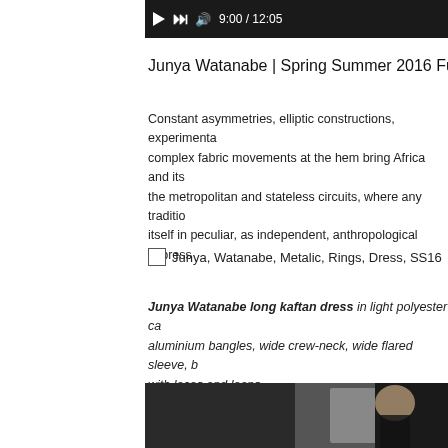[Figure (screenshot): Video player control bar showing play button, skip button, volume icon, and timestamp 9:00 / 12:05 on dark background]
Junya Watanabe | Spring Summer 2016 Full...
Constant asymmetries, elliptic constructions, experimenta... complex fabric movements at the hem bring Africa and its... the metropolitan and stateless circuits, where any traditio... itself in peculiar, as independent, anthropological express...
Junya, Watanabe, Metalic, Rings, Dress, SS16
Junya Watanabe long kaftan dress in light polyester ca... aluminium bangles, wide crew-neck, wide flared sleeve, b... with laces and loops.
[Figure (photo): Fashion show runway photo showing model in dark outfit, part of a book or catalog]